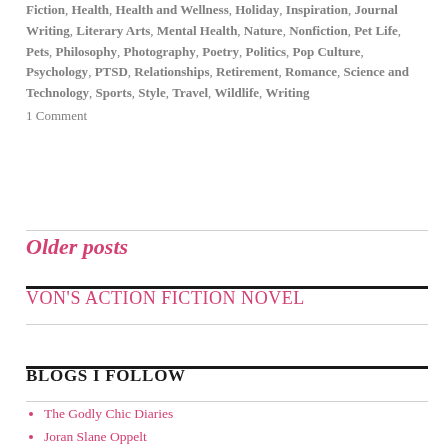Fiction, Health, Health and Wellness, Holiday, Inspiration, Journal Writing, Literary Arts, Mental Health, Nature, Nonfiction, Pet Life, Pets, Philosophy, Photography, Poetry, Politics, Pop Culture, Psychology, PTSD, Relationships, Retirement, Romance, Science and Technology, Sports, Style, Travel, Wildlife, Writing
1 Comment
Older posts
VON'S ACTION FICTION NOVEL
BLOGS I FOLLOW
The Godly Chic Diaries
Joran Slane Oppelt
ESSENTIAL
Sarah Doughty
We Rock Rocks